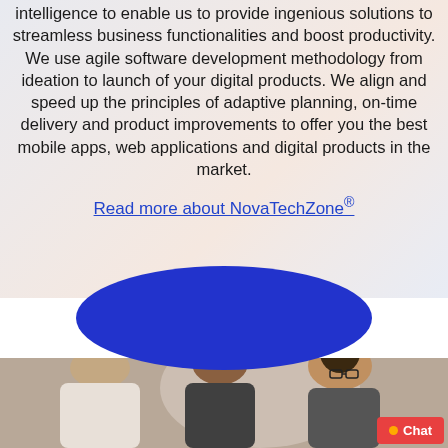intelligence to enable us to provide ingenious solutions to streamless business functionalities and boost productivity. We use agile software development methodology from ideation to launch of your digital products. We align and speed up the principles of adaptive planning, on-time delivery and product improvements to offer you the best mobile apps, web applications and digital products in the market.
Read more about NovaTechZone®
[Figure (photo): Photo of people (team members) working together, with a blue arc/semicircle decorative element above the photo. A chat badge is visible in the bottom right corner.]